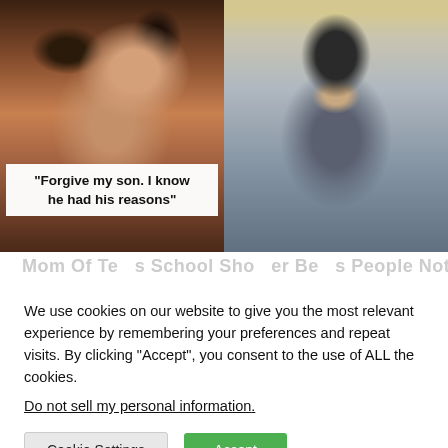[Figure (photo): Two-panel image: left panel shows a middle-aged woman with glasses and curly dark hair, with a white quote box overlay reading '"Forgive my son. I know he had his reasons"'. Right panel shows a young person with dark shoulder-length hair taking a mirror selfie, wearing a dark hoodie.]
Mom Of Texas School Shooter Begs People Not To...
We use cookies on our website to give you the most relevant experience by remembering your preferences and repeat visits. By clicking “Accept”, you consent to the use of ALL the cookies.
Do not sell my personal information.